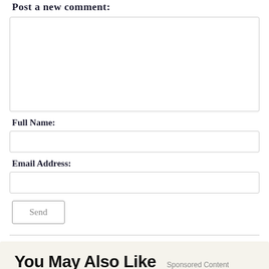Post a new comment:
[comment textarea]
Full Name:
[full name input]
Email Address:
[email address input]
Send
You May Also Like
Sponsored Content